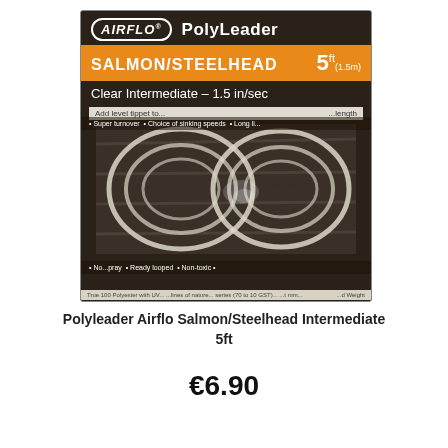[Figure (photo): Airflo PolyLeader product packaging for Salmon/Steelhead 5ft Clear Intermediate 1.5 in/sec, dark brown/black background with orange salmon/steelhead bar, showing coiled clear leader line]
Polyleader Airflo Salmon/Steelhead Intermediate 5ft
€6.90